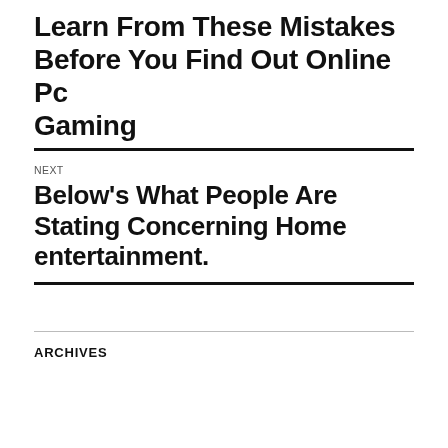Learn From These Mistakes Before You Find Out Online Pc Gaming
NEXT
Below’s What People Are Stating Concerning Home entertainment.
ARCHIVES